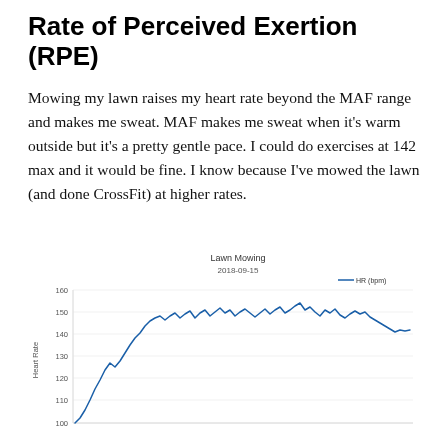Rate of Perceived Exertion (RPE)
Mowing my lawn raises my heart rate beyond the MAF range and makes me sweat. MAF makes me sweat when it's warm outside but it's a pretty gentle pace. I could do exercises at 142 max and it would be fine. I know because I've mowed the lawn (and done CrossFit) at higher rates.
[Figure (line-chart): Line chart showing heart rate during lawn mowing session on 2018-09-15. HR starts around 95, rises steeply to ~125 then to ~150, fluctuates between 145-158, then drops to ~143 at the end. Y-axis shows Heart Rate from 100 to 160.]